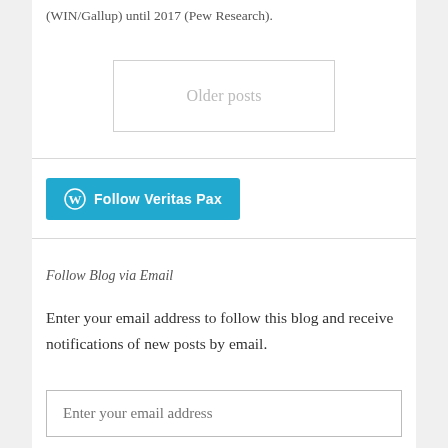(WIN/Gallup) until 2017 (Pew Research).
Older posts
[Figure (other): Follow Veritas Pax button with WordPress icon on cyan/teal background]
Follow Blog via Email
Enter your email address to follow this blog and receive notifications of new posts by email.
Enter your email address